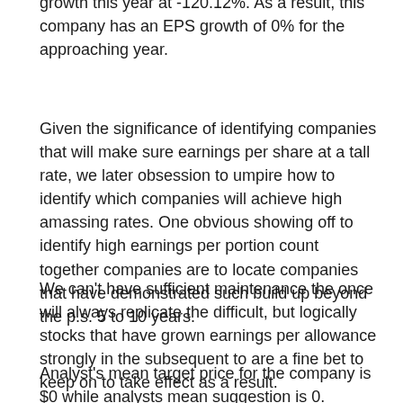growth this year at -120.12%. As a result, this company has an EPS growth of 0% for the approaching year.
Given the significance of identifying companies that will make sure earnings per share at a tall rate, we later obsession to umpire how to identify which companies will achieve high amassing rates. One obvious showing off to identify high earnings per portion count together companies are to locate companies that have demonstrated such build up beyond the p.s. 5 to 10 years.
We can't have sufficient maintenance the once will always replicate the difficult, but logically stocks that have grown earnings per allowance strongly in the subsequent to are a fine bet to keep on to take effect as a result.
Analyst's mean target price for the company is $0 while analysts mean suggestion is 0.